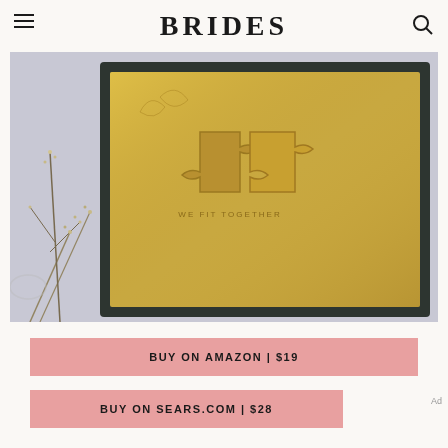BRIDES
[Figure (photo): A framed wooden puzzle with two interlocking golden puzzle pieces on a gold background, with the text 'WE FIT TOGETHER' engraved. Dried flowers decorate the scene against a light purple/gray background.]
BUY ON AMAZON | $19
BUY ON SEARS.COM | $28